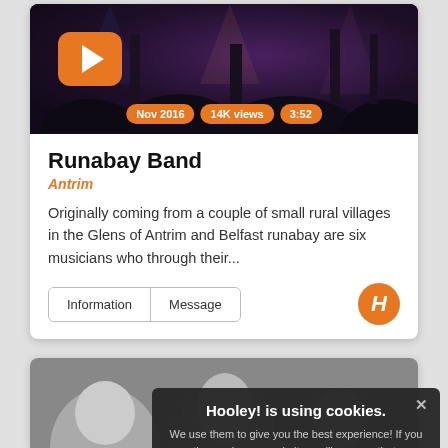[Figure (screenshot): Video thumbnail of a live music performance with orange play button overlay and badges showing Nov 2016, 14K views, 3:52]
Runabay Band
Antrim
Originally coming from a couple of small rural villages in the Glens of Antrim and Belfast runabay are six musicians who through their...
[Figure (photo): Partial black and white photo of band members at the bottom of the page]
Hooley! is using cookies. We use them to give you the best experience! If you continue using our website, we'll assume that you are happy to receive all cookies. Continue Learn more